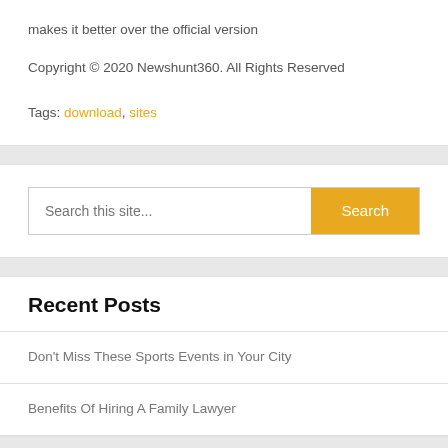makes it better over the official version
Copyright © 2020 Newshunt360. All Rights Reserved
Tags: download, sites
Search this site...
Recent Posts
Don't Miss These Sports Events in Your City
Benefits Of Hiring A Family Lawyer